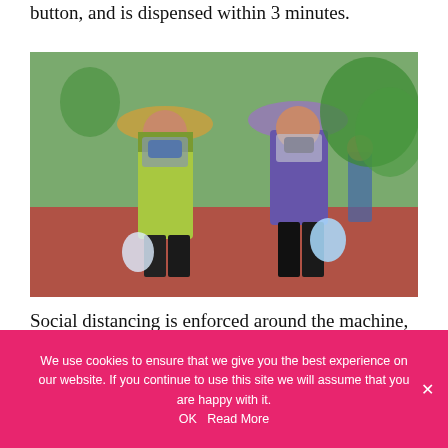button, and is dispensed within 3 minutes.
[Figure (photo): Two women wearing Vietnamese conical hats and face masks, dressed in colorful outdoor clothing, walking on a red-paved area. One wears a green jacket and the other a purple jacket. Both carry plastic bags.]
Social distancing is enforced around the machine, and those standing in line must keep 2 meters apart from each other, use hand sanitizer and register their name before receiving their rice.
The ATM has already attracted many nearby residents. "As our house has run out of rice for
We use cookies to ensure that we give you the best experience on our website. If you continue to use this site we will assume that you are happy with it.
OK   Read More